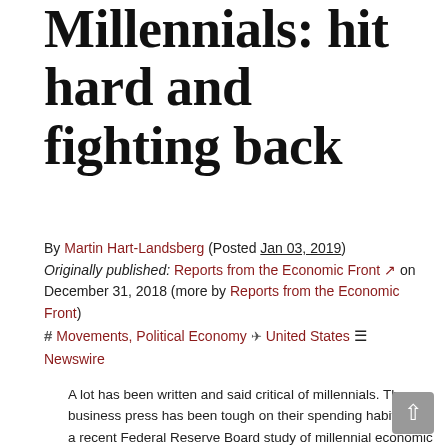Millennials: hit hard and fighting back
By Martin Hart-Landsberg (Posted Jan 03, 2019) Originally published: Reports from the Economic Front on December 31, 2018 (more by Reports from the Economic Front)
# Movements, Political Economy ✈ United States ≡ Newswire
A lot has been written and said critical of millennials. The business press has been tough on their spending habits. As a recent Federal Reserve Board study of millennial economic well-being explained:
In the fields of business and economics, the unique tastes and preferences of